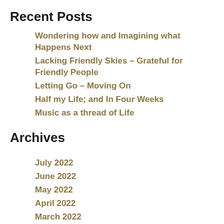Recent Posts
Wondering how and Imagining what Happens Next
Lacking Friendly Skies – Grateful for Friendly People
Letting Go – Moving On
Half my Life; and In Four Weeks
Music as a thread of Life
Archives
July 2022
June 2022
May 2022
April 2022
March 2022
January 2022